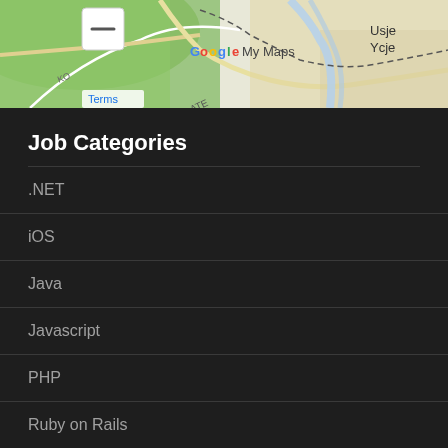[Figure (map): Google My Maps screenshot showing a terrain/road map with green forested area, roads, and labels including 'Usje Ycje', 'Terms', and watermark 'Google My Maps'. A minus zoom button is visible in the top left.]
Job Categories
.NET
iOS
Java
Javascript
PHP
Ruby on Rails
Links